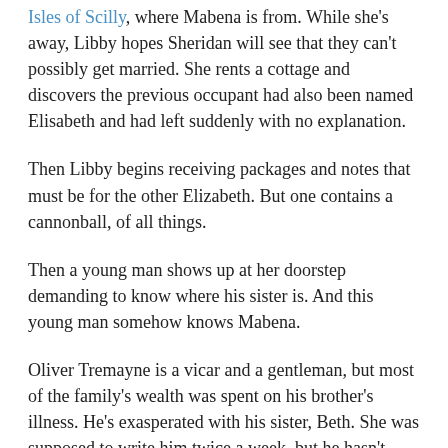Isles of Scilly, where Mabena is from. While she's away, Libby hopes Sheridan will see that they can't possibly get married. She rents a cottage and discovers the previous occupant had also been named Elisabeth and had left suddenly with no explanation.
Then Libby begins receiving packages and notes that must be for the other Elizabeth. But one contains a cannonball, of all things.
Then a young man shows up at her doorstep demanding to know where his sister is. And this young man somehow knows Mabena.
Oliver Tremayne is a vicar and a gentleman, but most of the family's wealth was spent on his brother's illness. He's exasperated with his sister, Beth. She was supposed to write him twice a week, but he hasn't heard from her in two weeks. He's afraid Beth's absence is aggravating his grandmother's dementia. He'd told Beth he'd stay away and giver her her freedom while on Holiday, but he has to make sure she is all right. Imagine his surprise, then